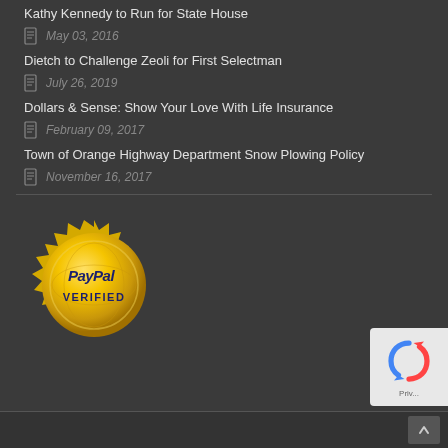Kathy Kennedy to Run for State House
May 03, 2016
Dietch to Challenge Zeoli for First Selectman
July 26, 2019
Dollars & Sense: Show Your Love With Life Insurance
February 09, 2017
Town of Orange Highway Department Snow Plowing Policy
November 16, 2017
[Figure (logo): PayPal Verified gold seal badge]
[Figure (logo): reCAPTCHA widget stub partially visible at bottom right]